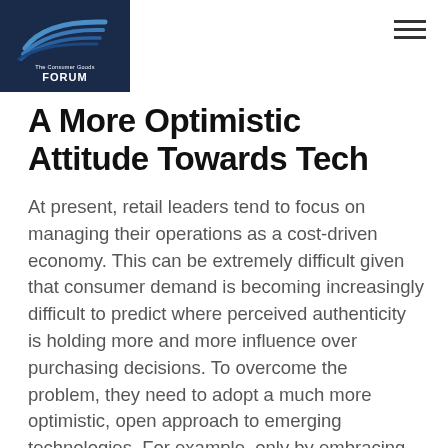The Consumer Goods FORUM
A More Optimistic Attitude Towards Tech
At present, retail leaders tend to focus on managing their operations as a cost-driven economy. This can be extremely difficult given that consumer demand is becoming increasingly difficult to predict where perceived authenticity is holding more and more influence over purchasing decisions. To overcome the problem, they need to adopt a much more optimistic, open approach to emerging technologies. For example, only by embracing artificial intelligence and data analytics can